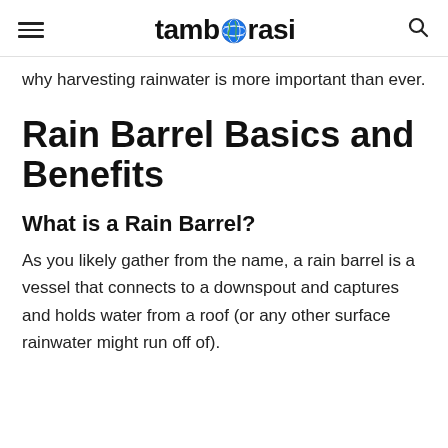tamborasi
why harvesting rainwater is more important than ever.
Rain Barrel Basics and Benefits
What is a Rain Barrel?
As you likely gather from the name, a rain barrel is a vessel that connects to a downspout and captures and holds water from a roof (or any other surface rainwater might run off of).